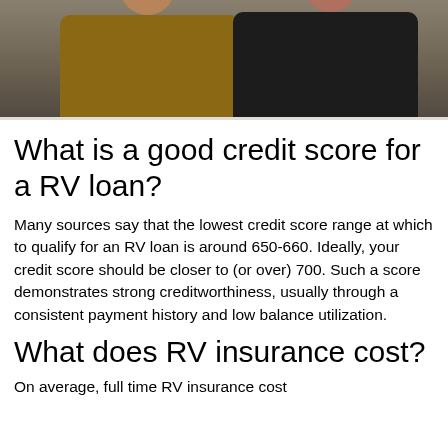[Figure (photo): Two people wearing jackets, photographed from the shoulders up, cropped at the top of the page.]
What is a good credit score for a RV loan?
Many sources say that the lowest credit score range at which to qualify for an RV loan is around 650-660. Ideally, your credit score should be closer to (or over) 700. Such a score demonstrates strong creditworthiness, usually through a consistent payment history and low balance utilization.
What does RV insurance cost?
On average, full time RV insurance cost